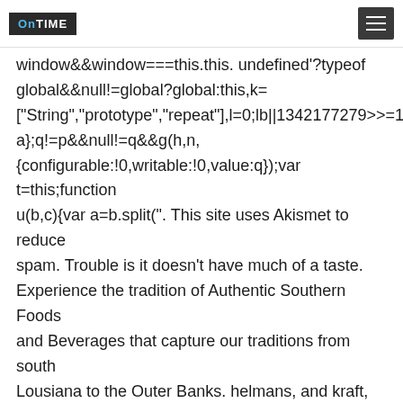OnTIME [logo] [menu button]
window&&window===this.this. undefined'?typeof global&&null!=global?global:this,k= ["String","prototype","repeat"],l=0;lb||1342177279>>=1)c+=c a};q!=p&&null!=q&&g(h,n, {configurable:!0,writable:!0,value:q});var t=this;function u(b,c){var a=b.split(". This site uses Akismet to reduce spam. Trouble is it doesn't have much of a taste. Experience the tradition of Authentic Southern Foods and Beverages that capture our traditions from south Lousiana to the Outer Banks. helmans, and kraft, are better over all they have more egg yolk, and a better flaver. When we discovered the radical change in the formulation of Kraft Mayo all hell broke loose. Learn how your comment data is processed. It has no sugar listed on the label yet it is sweet... Yuck!! There is this